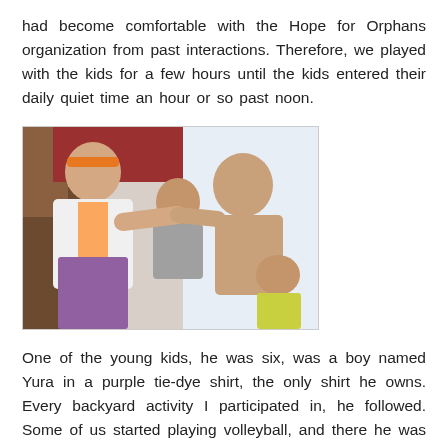had become comfortable with the Hope for Orphans organization from past interactions. Therefore, we played with the kids for a few hours until the kids entered their daily quiet time an hour or so past noon.
[Figure (photo): A photo showing adults and children interacting indoors. A person in an orange headband and white/orange shirt is bending down toward a child. A shirtless young man faces the child. Another child in a yellow/green shirt is visible in the lower right.]
One of the young kids, he was six, was a boy named Yura in a purple tie-dye shirt, the only shirt he owns. Every backyard activity I participated in, he followed. Some of us started playing volleyball, and there he was with his bright enormous mouth-wide-open smile. Then when I sat on the bench to catch my breath, there he was sitting next